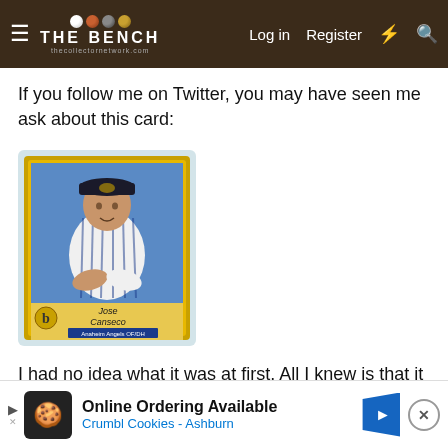THE BENCH — Log in | Register
If you follow me on Twitter, you may have seen me ask about this card:
[Figure (photo): Photo of a Jose Canseco baseball card (Anaheim Angels, OF/DH) in a protective case with a gold border, showing Canseco in a white pinstripe uniform.]
I had no idea what it was at first. All I knew is that it was on a
This site uses cookies to help personalise content, tailor your experience and to keep you logged in if you register.
By continuing to use this site, you are consenting to our use of cookies.
[Figure (infographic): Advertisement banner: Online Ordering Available — Crumbl Cookies - Ashburn]